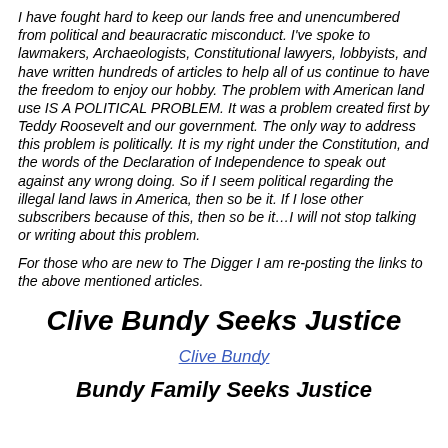I have fought hard to keep our lands free and unencumbered from political and beauracratic misconduct. I've spoke to lawmakers, Archaeologists, Constitutional lawyers, lobbyists, and have written hundreds of articles to help all of us continue to have the freedom to enjoy our hobby. The problem with American land use IS A POLITICAL PROBLEM. It was a problem created first by Teddy Roosevelt and our government. The only way to address this problem is politically. It is my right under the Constitution, and the words of the Declaration of Independence to speak out against any wrong doing. So if I seem political regarding the illegal land laws in America, then so be it. If I lose other subscribers because of this, then so be it…I will not stop talking or writing about this problem.
For those who are new to The Digger I am re-posting the links to the above mentioned articles.
Clive Bundy Seeks Justice
Clive Bundy
Bundy Family Seeks Justice